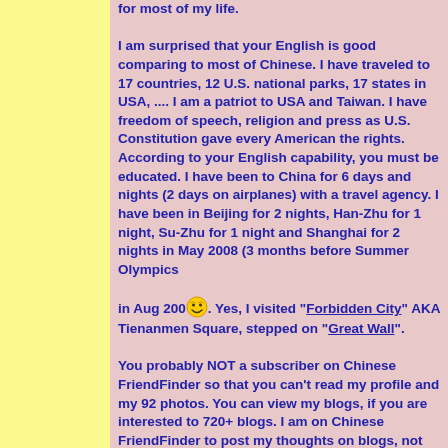for most of my life.

I am surprised that your English is good comparing to most of Chinese. I have traveled to 17 countries, 12 U.S. national parks, 17 states in USA, .... I am a patriot to USA and Taiwan. I have freedom of speech, religion and press as U.S. Constitution gave every American the rights. According to your English capability, you must be educated. I have been to China for 6 days and nights (2 days on airplanes) with a travel agency. I have been in Beijing for 2 nights, Han-Zhu for 1 night, Su-Zhu for 1 night and Shanghai for 2 nights in May 2008 (3 months before Summer Olympics in Aug 200 [emoji]. Yes, I visited "Forbidden City" AKA Tienanmen Square, stepped on "Great Wall".

You probably NOT a subscriber on Chinese FriendFinder so that you can't read my profile and my 92 photos. You can view my blogs, if you are interested to 720+ blogs. I am on Chinese FriendFinder to post my thoughts on blogs, not dating anyone as I already found a banker CEO/Chairman for 15 years and 3 months. He taught me how to invest in USA including real estate and stock market. I brought $3,000 USD (Taiwanese government